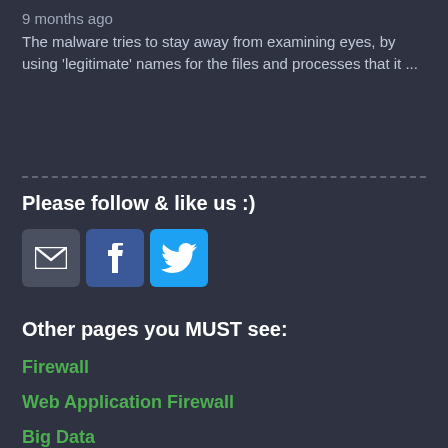9 months ago
The malware tries to stay away from examining eyes, by using 'legitimate' names for the files and processes that it ...
Please follow & like us :)
[Figure (infographic): Three social media icon buttons: email (envelope icon, dark grey), Facebook (f logo, blue), Twitter (bird logo, light blue)]
Other pages you MUST see:
Firewall
Web Application Firewall
Big Data